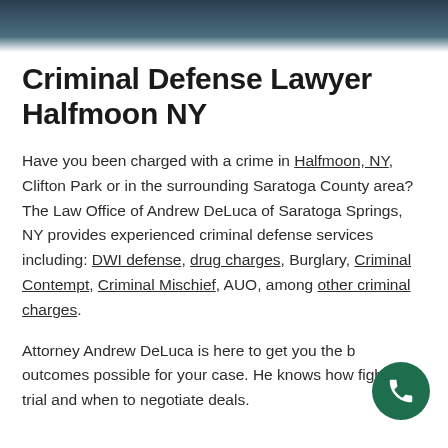[Figure (photo): Dark header image, appears to be a blurred outdoor or courtroom scene]
Criminal Defense Lawyer Halfmoon NY
Have you been charged with a crime in Halfmoon, NY, Clifton Park or in the surrounding Saratoga County area? The Law Office of Andrew DeLuca of Saratoga Springs, NY provides experienced criminal defense services including: DWI defense, drug charges, Burglary, Criminal Contempt, Criminal Mischief, AUO, among other criminal charges.
Attorney Andrew DeLuca is here to get you the best outcomes possible for your case. He knows how to fight at trial and when to negotiate deals.